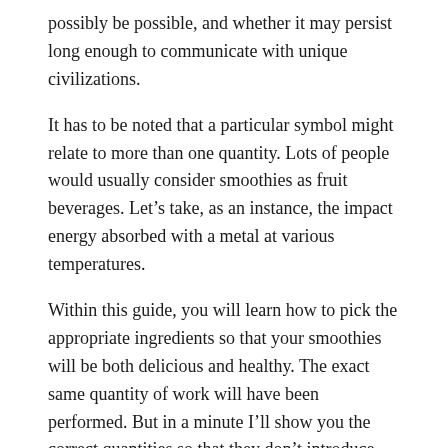possibly be possible, and whether it may persist long enough to communicate with unique civilizations.
It has to be noted that a particular symbol might relate to more than one quantity. Lots of people would usually consider smoothies as fruit beverages. Let’s take, as an instance, the impact energy absorbed with a metal at various temperatures.
Within this guide, you will learn how to pick the appropriate ingredients so that your smoothies will be both delicious and healthy. The exact same quantity of work will have been performed. But in a minute I’ll show you the correct quantities so that they don’t introduce extra sugar.
http://en.wikipedia.com/wiki/Tissue_paper
Definitions of Physics Constants
Almost as vital as the cheat sheet itself is the procedure